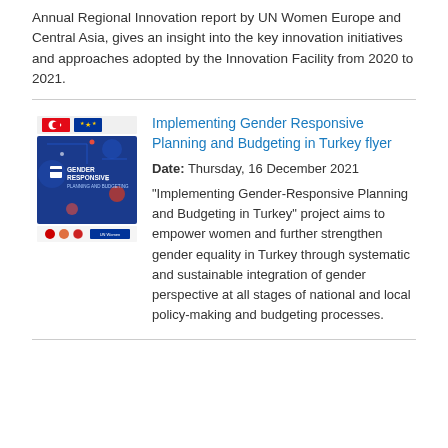Annual Regional Innovation report by UN Women Europe and Central Asia, gives an insight into the key innovation initiatives and approaches adopted by the Innovation Facility from 2020 to 2021.
[Figure (illustration): Cover thumbnail of 'Gender Responsive Planning and Budgeting' document with Turkish and EU flags at top and logos at bottom, on a dark blue background.]
Implementing Gender Responsive Planning and Budgeting in Turkey flyer
Date: Thursday, 16 December 2021
"Implementing Gender-Responsive Planning and Budgeting in Turkey" project aims to empower women and further strengthen gender equality in Turkey through systematic and sustainable integration of gender perspective at all stages of national and local policy-making and budgeting processes.